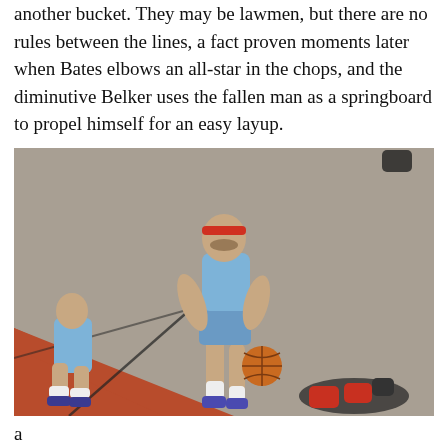another bucket. They may be lawmen, but there are no rules between the lines, a fact proven moments later when Bates elbows an all-star in the chops, and the diminutive Belker uses the fallen man as a springboard to propel himself for an easy layup.
[Figure (photo): Aerial view of a basketball game scene, showing a player in a light blue jersey and red headband dribbling a basketball, with other players visible around him on a court with red and dark court markings.]
a